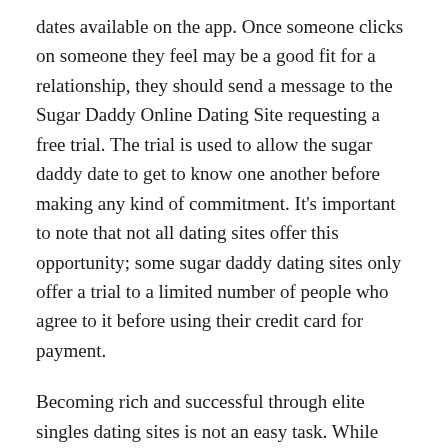dates available on the app. Once someone clicks on someone they feel may be a good fit for a relationship, they should send a message to the Sugar Daddy Online Dating Site requesting a free trial. The trial is used to allow the sugar daddy date to get to know one another before making any kind of commitment. It's important to note that not all dating sites offer this opportunity; some sugar daddy dating sites only offer a trial to a limited number of people who agree to it before using their credit card for payment.
Becoming rich and successful through elite singles dating sites is not an easy task. While some wealthy individuals have been known to meet and date beautiful women, the some wealthy men have never even seen or met a woman that they considered attractive. In order to develop a